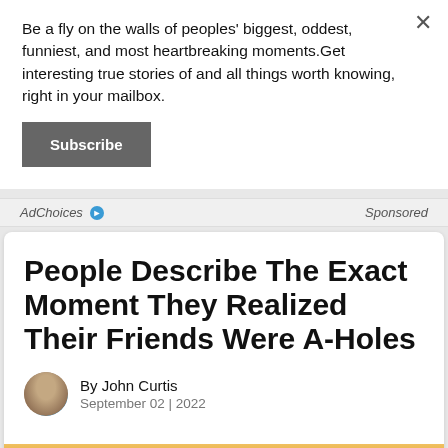Be a fly on the walls of peoples' biggest, oddest, funniest, and most heartbreaking moments.Get interesting true stories of and all things worth knowing, right in your mailbox.
Subscribe
AdChoices ▶   Sponsored
People Describe The Exact Moment They Realized Their Friends Were A-Holes
By John Curtis
September 02 | 2022
[Figure (photo): Silhouettes of people against a sunset/golden hour sky with mountains in the background]